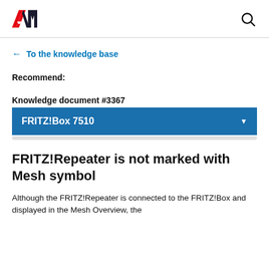AVM logo and search icon
← To the knowledge base
Recommend:
Knowledge document #3367
FRITZ!Box 7510
FRITZ!Repeater is not marked with Mesh symbol
Although the FRITZ!Repeater is connected to the FRITZ!Box and displayed in the Mesh Overview, the